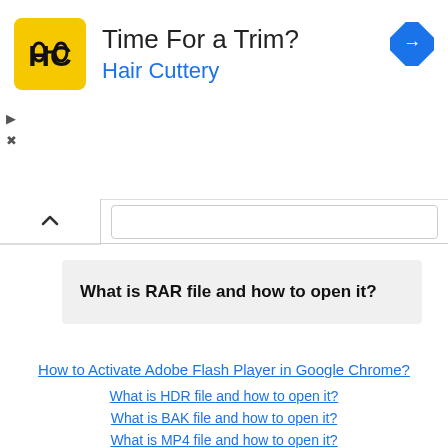[Figure (other): Hair Cuttery advertisement banner with logo, 'Time For a Trim?' headline, 'Hair Cuttery' subtitle in blue, and a navigation/directions icon in blue on the right.]
What is RAR file and how to open it?
How to Activate Adobe Flash Player in Google Chrome?
What is HDR file and how to open it?
What is BAK file and how to open it?
What is MP4 file and how to open it?